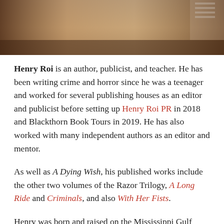[Figure (photo): Cropped photo showing hands or torso, warm brown tones, partial view of a person]
Henry Roi is an author, publicist, and teacher. He has been writing crime and horror since he was a teenager and worked for several publishing houses as an editor and publicist before setting up Henry Roi PR in 2018 and Blackthorn Book Tours in 2019. He has also worked with many independent authors as an editor and mentor.
As well as A Dying Wish, his published works include the other two volumes of the Razor Trilogy, A Long Ride and Criminals, and also With Her Fists.
Henry was born and raised on the Mississippi Gulf